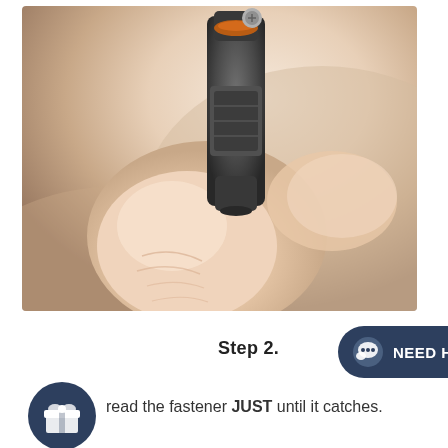[Figure (photo): Close-up photo of a hand (thumb and fingers) holding and threading a dark grey mechanical fastener/connector device, showing the threading action]
Step 2.
[Figure (infographic): Dark navy rounded button/badge with chat bubble icon and text 'NEED HELP?']
[Figure (infographic): Dark navy circular icon with a gift/present symbol]
read the fastener JUST until it catches.